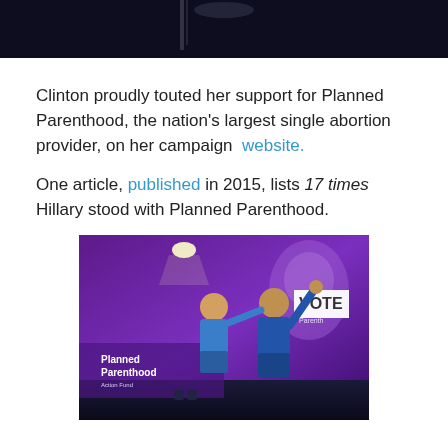[Figure (photo): Dark photo at top of page, partially visible, dark background]
Clinton proudly touted her support for Planned Parenthood, the nation's largest single abortion provider, on her campaign website.
One article, published in 2015, lists 17 times Hillary stood with Planned Parenthood.
[Figure (photo): Photo of two women in blue outfits on stage at a Planned Parenthood Action Fund event, one raising the other's hand. Purple backdrop with Planned Parenthood logo and VOTE sign visible.]